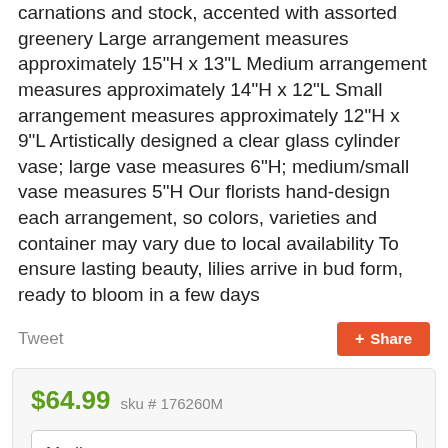carnations and stock, accented with assorted greenery Large arrangement measures approximately 15"H x 13"L Medium arrangement measures approximately 14"H x 12"L Small arrangement measures approximately 12"H x 9"L Artistically designed a clear glass cylinder vase; large vase measures 6"H; medium/small vase measures 5"H Our florists hand-design each arrangement, so colors, varieties and container may vary due to local availability To ensure lasting beauty, lilies arrive in bud form, ready to bloom in a few days
Tweet
+ Share
$64.99  sku # 176260M
Medium
Order by 1:00 PM EST for same day pickup or delivery!
Delivery or Pickup?